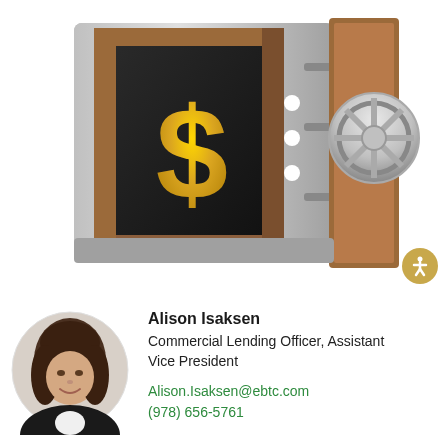[Figure (photo): Open bank vault/safe with a large gold dollar sign inside, set against a white background]
[Figure (photo): Circular headshot of Alison Isaksen, a woman with long brown hair wearing a dark blazer, smiling]
Alison Isaksen
Commercial Lending Officer, Assistant Vice President
Alison.Isaksen@ebtc.com
(978) 656-5761